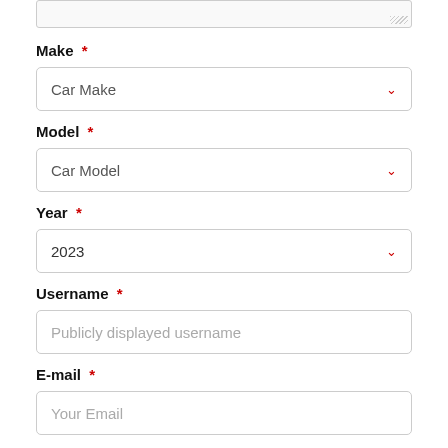[Figure (screenshot): Top portion of a textarea form field, showing the bottom edge with resize handle]
Make *
[Figure (screenshot): Dropdown select field with placeholder 'Car Make' and a red chevron on the right]
Model *
[Figure (screenshot): Dropdown select field with placeholder 'Car Model' and a red chevron on the right]
Year *
[Figure (screenshot): Dropdown select field with value '2023' and a red chevron on the right]
Username *
[Figure (screenshot): Text input field with placeholder 'Publicly displayed username']
E-mail *
[Figure (screenshot): Text input field with placeholder 'Your Email']